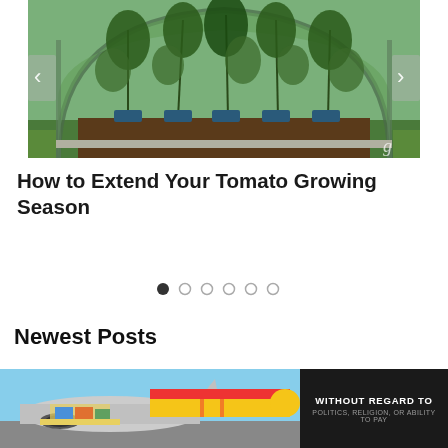[Figure (photo): A green arch-shaped greenhouse tunnel with tall tomato plants growing inside, viewed from the front. Navigation arrows visible on left and right sides. Grass lawn surrounds the greenhouse.]
How to Extend Your Tomato Growing Season
[Figure (infographic): Carousel navigation dots — six circles, first one filled dark, rest are light gray.]
Newest Posts
[Figure (photo): An airplane being loaded with cargo at an airport. A yellow/red striped aircraft is visible. On the right side, a dark banner reads WITHOUT REGARD TO with smaller text below.]